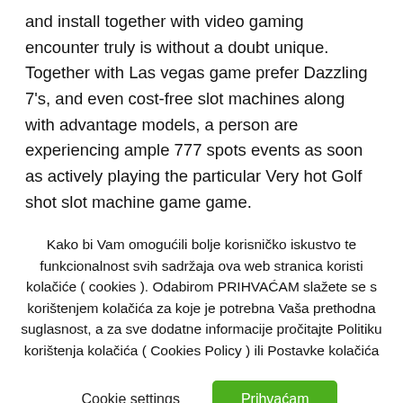and install together with video gaming encounter truly is without a doubt unique. Together with Las vegas game prefer Dazzling 7's, and even cost-free slot machines along with advantage models, a person are experiencing ample 777 spots events as soon as actively playing the particular Very hot Golf shot slot machine game game.
Kako bi Vam omogućili bolje korisničko iskustvo te funkcionalnost svih sadržaja ova web stranica koristi kolačiće ( cookies ). Odabirom PRIHVAĆAM slažete se s korištenjem kolačića za koje je potrebna Vaša prethodna suglasnost, a za sve dodatne informacije pročitajte Politiku korištenja kolačića ( Cookies Policy ) ili Postavke kolačića
Cookie settings
Prihvaćam